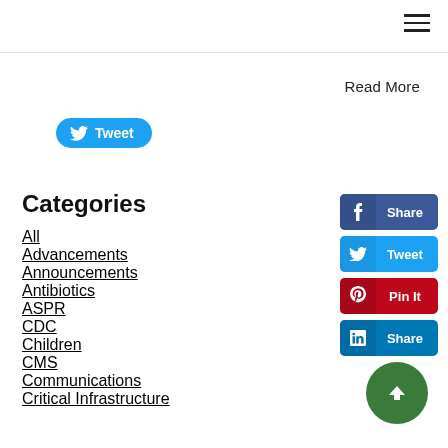Read More
[Figure (other): Tweet button with Twitter bird icon]
Categories
All
Advancements
Announcements
Antibiotics
ASPR
CDC
Children
CMS
Communications
Critical Infrastructure
[Figure (other): Social share buttons: Facebook Share, Twitter Tweet, Pinterest Pin It, LinkedIn Share]
[Figure (other): Green scroll-to-top circular button with up arrow]